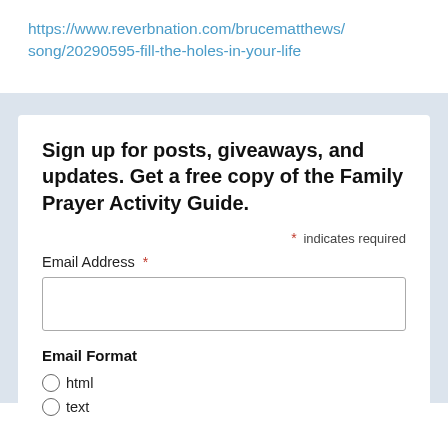https://www.reverbnation.com/brucematthews/song/20290595-fill-the-holes-in-your-life
Sign up for posts, giveaways, and updates. Get a free copy of the Family Prayer Activity Guide.
* indicates required
Email Address *
Email Format
html
text